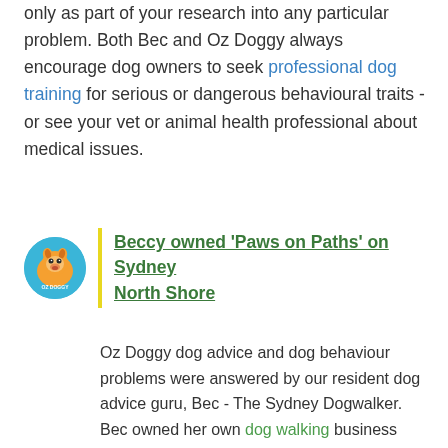only as part of your research into any particular problem. Both Bec and Oz Doggy always encourage dog owners to seek professional dog training for serious or dangerous behavioural traits - or see your vet or animal health professional about medical issues.
Beccy owned 'Paws on Paths' on Sydney North Shore
Oz Doggy dog advice and dog behaviour problems were answered by our resident dog advice guru, Bec - The Sydney Dogwalker. Bec owned her own dog walking business Paws on